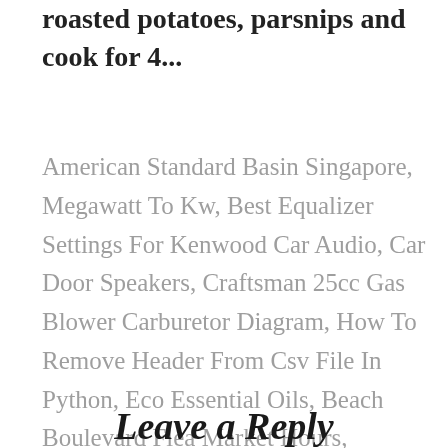roasted potatoes, parsnips and cook for 4...
American Standard Basin Singapore, Megawatt To Kw, Best Equalizer Settings For Kenwood Car Audio, Car Door Speakers, Craftsman 25cc Gas Blower Carburetor Diagram, How To Remove Header From Csv File In Python, Eco Essential Oils, Beach Boulevard Flea Market Hours, Caffeine Before Bed Reddit,
Leave a Reply